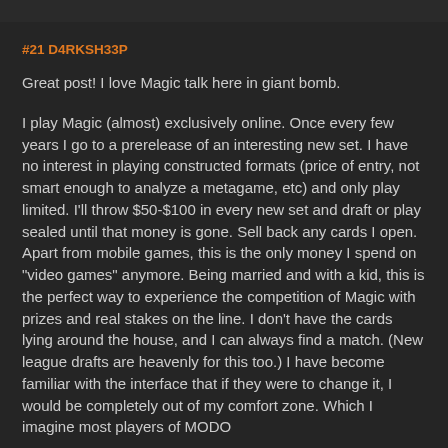#21 D4RKSH33P
Great post! I love Magic talk here in giant bomb.
I play Magic (almost) exclusively online. Once every few years I go to a prerelease of an interesting new set. I have no interest in playing constructed formats (price of entry, not smart enough to analyze a metagame, etc) and only play limited. I'll throw $50-$100 in every new set and draft or play sealed until that money is gone. Sell back any cards I open. Apart from mobile games, this is the only money I spend on "video games" anymore. Being married and with a kid, this is the perfect way to experience the competition of Magic with prizes and real stakes on the line. I don't have the cards lying around the house, and I can always find a match. (New league drafts are heavenly for this too.) I have become familiar with the interface that if they were to change it, I would be completely out of my comfort zone. Which I imagine most players of MODO would agree with.